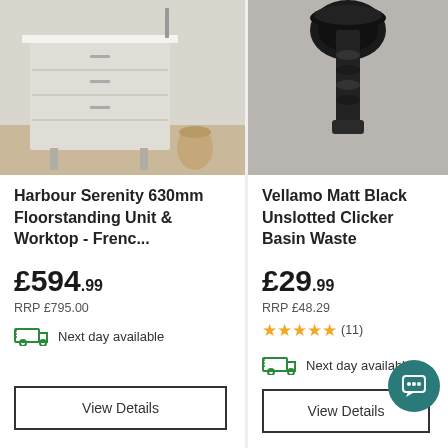[Figure (photo): Harbour Serenity 630mm floorstanding unit with worktop in French Grey, shown in bedroom setting]
Harbour Serenity 630mm Floorstanding Unit & Worktop - Frenc...
£594.99
RRP £795.00
Next day available
View Details
[Figure (photo): Vellamo Matt Black Unslotted Clicker Basin Waste closeup on grey background]
Vellamo Matt Black Unslotted Clicker Basin Waste
£29.99
RRP £48.29
★★★★★ (11)
Next day available
View Details
[Figure (photo): Partial view of third product - Vellamo Tall B... partially cut off]
Vella- Tall B...
£12...
RRP ...
★★★